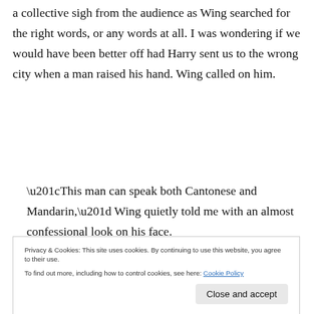a collective sigh from the audience as Wing searched for the right words, or any words at all. I was wondering if we would have been better off had Harry sent us to the wrong city when a man raised his hand. Wing called on him.
“This man can speak both Cantonese and Mandarin,” Wing quietly told me with an almost confessional look on his face.
Privacy & Cookies: This site uses cookies. By continuing to use this website, you agree to their use. To find out more, including how to control cookies, see here: Cookie Policy
Close and accept